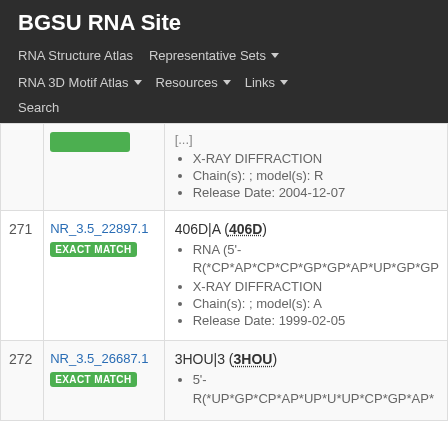BGSU RNA Site
RNA Structure Atlas  Representative Sets  RNA 3D Motif Atlas  Resources  Links  Search
| # | ID | Details |
| --- | --- | --- |
|  |  | [...]
X-RAY DIFFRACTION
Chain(s): ; model(s): R
Release Date: 2004-12-07 |
| 271 | NR_3.5_22897.1
EXACT MATCH | 406D|A (406D)
RNA (5'-R(*CP*AP*CP*CP*GP*GP*AP*UP*GP*GP...
X-RAY DIFFRACTION
Chain(s): ; model(s): A
Release Date: 1999-02-05 |
| 272 | NR_3.5_26687.1
EXACT MATCH | 3HOU|3 (3HOU)
5'-R(*UP*GP*CP*AP*UP*U*UP*CP*GP*AP*... |